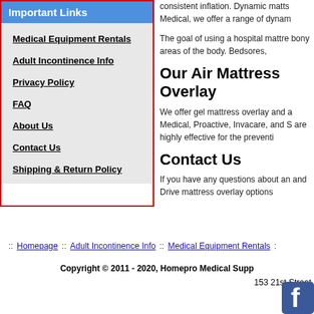Important Links
Medical Equipment Rentals
Adult Incontinence Info
Privacy Policy
FAQ
About Us
Contact Us
Shipping & Return Policy
consistent inflation. Dynamic matts Medical, we offer a range of dynam
The goal of using a hospital mattre bony areas of the body. Bedsores,
Our Air Mattress Overlay
We offer gel mattress overlay and a Medical, Proactive, Invacare, and S are highly effective for the preventi
Contact Us
If you have any questions about an and Drive mattress overlay options
:: Homepage :: Adult Incontinence Info :: Medical Equipment Rentals :
Copyright © 2011 - 2020, Homepro Medical Supp
153 21st Street